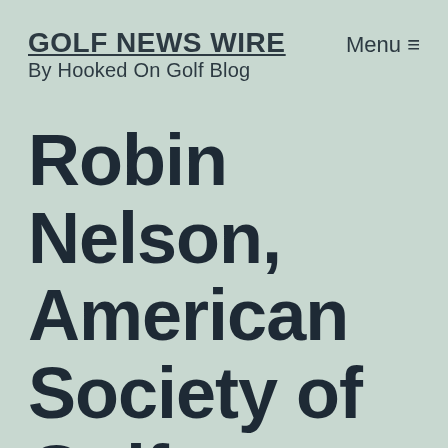GOLF NEWS WIRE
By Hooked On Golf Blog
Robin Nelson, American Society of Golf Course